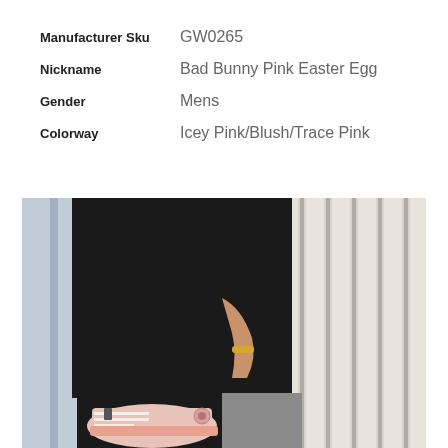Manufacturer Sku  GW0265
Nickname  Bad Bunny Pink Easter Egg
Gender  Mens
Colorway  Icey Pink/Blush/Trace Pink
[Figure (photo): Person wearing black outfit and pink Bad Bunny sneakers, standing in front of white vertical slat wall, with a gold bracelet visible on their wrist.]